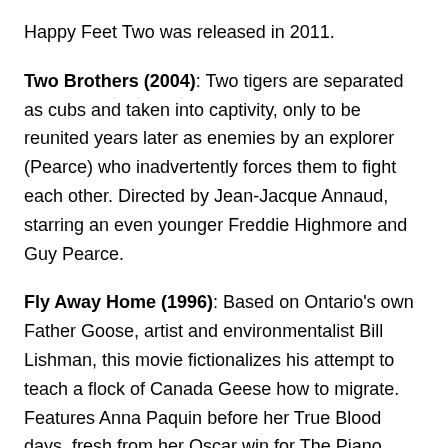Happy Feet Two was released in 2011.
Two Brothers (2004): Two tigers are separated as cubs and taken into captivity, only to be reunited years later as enemies by an explorer (Pearce) who inadvertently forces them to fight each other. Directed by Jean-Jacque Annaud, starring an even younger Freddie Highmore and Guy Pearce.
Fly Away Home (1996): Based on Ontario's own Father Goose, artist and environmentalist Bill Lishman, this movie fictionalizes his attempt to teach a flock of Canada Geese how to migrate. Features Anna Paquin before her True Blood days, fresh from her Oscar win for The Piano.
Duma (2005): By the same director as Fly Away Home, this movie set in South Africa is about the bond between an orphaned cheetah and a young boy.